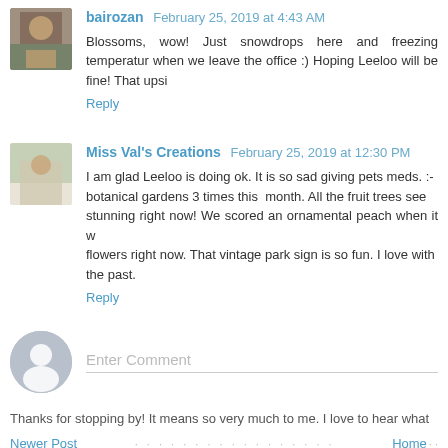bairozan  February 25, 2019 at 4:43 AM
Blossoms, wow! Just snowdrops here and freezing temperature when we leave the office :) Hoping Leeloo will be fine! That upsi
Reply
Miss Val's Creations  February 25, 2019 at 12:30 PM
I am glad Leeloo is doing ok. It is so sad giving pets meds. :- botanical gardens 3 times this month. All the fruit trees see stunning right now! We scored an ornamental peach when it w flowers right now. That vintage park sign is so fun. I love with the past.
Reply
Enter Comment
Thanks for stopping by! It means so very much to me. I love to hear what
Newer Post
Home
Subscribe to: Post Comments (Atom)